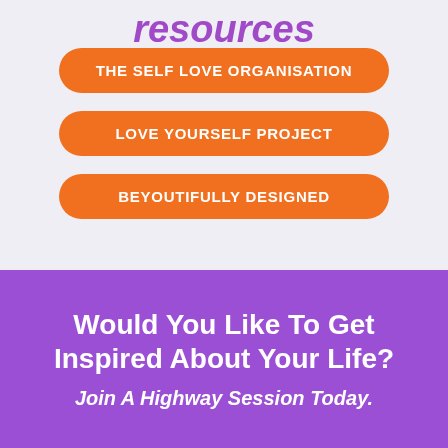resources
THE SELF LOVE ORGANISATION
LOVE YOURSELF PROJECT
BEYOUTIFULLY DESIGNED
Would You Like To Get Inspired About Your Life?
Join A Highway Session Today.